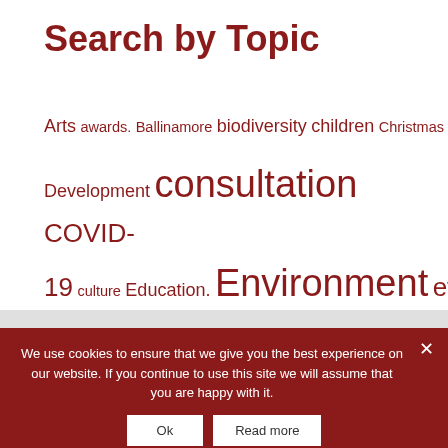Search by Topic
Arts awards. Ballinamore biodiversity children Christmas Community Community Development consultation COVID-19 culture Education. Environment events Funding Grants Health heritage Housing information Leitrim Leitrim Community Leitrim County Council Leitrim Development Company Leitrim PPN Leitrim Sports Manorhamilton. Mental health Mohill News newsletter opportunity planning Public Consultation representation rural Social Enterprise Social Inclusion support Survey Training voluntary Volunteering Women Youth
We use cookies to ensure that we give you the best experience on our website. If you continue to use this site we will assume that you are happy with it.